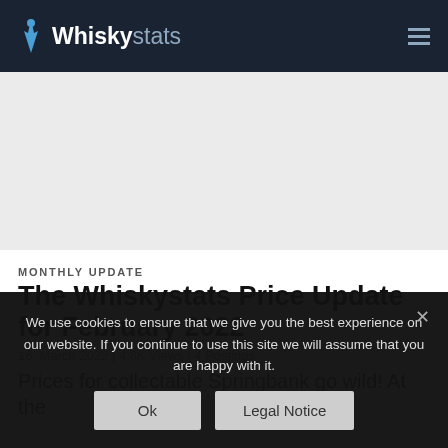WhiskyStats
MONTHLY UPDATE
The Whiskystats Price Update for February 2022
16. March 2022 | 4.8K Views | 4 Postings
Prices for collectable Springbank go wild! At the
We use cookies to ensure that we give you the best experience on our website. If you continue to use this site we will assume that you are happy with it.